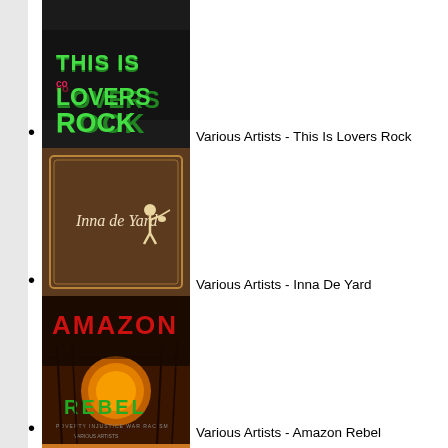Various Artists - This Is Lovers Rock
Various Artists - Inna De Yard
Various Artists - Amazon Rebel